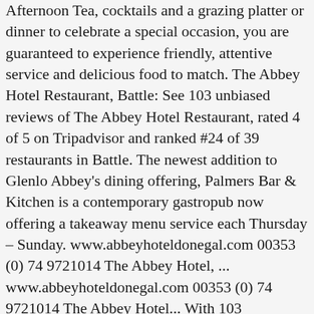Afternoon Tea, cocktails and a grazing platter or dinner to celebrate a special occasion, you are guaranteed to experience friendly, attentive service and delicious food to match. The Abbey Hotel Restaurant, Battle: See 103 unbiased reviews of The Abbey Hotel Restaurant, rated 4 of 5 on Tripadvisor and ranked #24 of 39 restaurants in Battle. The newest addition to Glenlo Abbey's dining offering, Palmers Bar & Kitchen is a contemporary gastropub now offering a takeaway menu service each Thursday – Sunday. www.abbeyhoteldonegal.com 00353 (0) 74 9721014 The Abbey Hotel, ... www.abbeyhoteldonegal.com 00353 (0) 74 9721014 The Abbey Hotel... With 103 bedrooms, a restaurant and a bar, the hotel offers a comfortable base for exploring the splendours of England's Three Counties: Worcestershire, Gloucestershire and Herefordshire. Quality produce and a passion to enrich guest experience comes with a promise to deliver a relaxed dining experience for every guest to